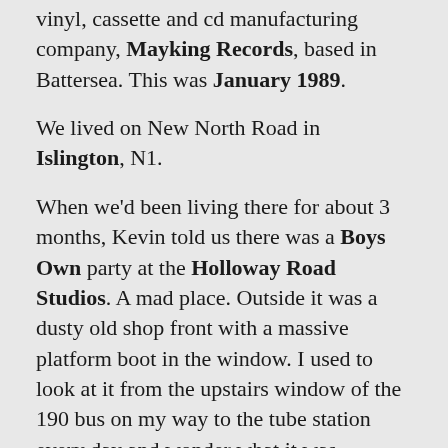vinyl, cassette and cd manufacturing company, Mayking Records, based in Battersea. This was January 1989.
We lived on New North Road in Islington, N1.
When we'd been living there for about 3 months, Kevin told us there was a Boys Own party at the Holloway Road Studios. A mad place. Outside it was a dusty old shop front with a massive platform boot in the window. I used to look at it from the upstairs window of the 190 bus on my way to the tube station every day and wonder what it was
We wore long sleeved tee shirts, baggy 501s, Argyll socks and Vans or Kicker boots. We danced and took it all in. We walked home in the early morning and talked excitedly.